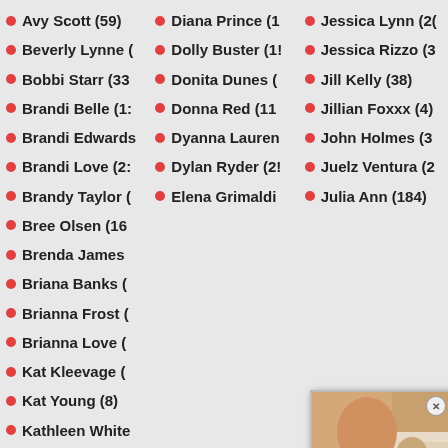Avy Scott (59)
Diana Prince (1...
Jessica Lynn (2...
Beverly Lynne (...
Dolly Buster (1...
Jessica Rizzo (3...
Bobbi Starr (33...
Donita Dunes (...
Jill Kelly (38)
Brandi Belle (1...
Donna Red (11...
Jillian Foxxx (4)
Brandi Edwards...
Dyanna Lauren...
John Holmes (3...
Brandi Love (22...
Dylan Ryder (2...
Juelz Ventura (2...
Brandy Taylor (...
Elena Grimaldi...
Julia Ann (184)
Bree Olsen (16...
Brenda James...
Briana Banks (...
Brianna Frost (...
Brianna Love (...
Kat Kleevage (...
Kat Young (8)
Kathleen White...
[Figure (photo): A popup overlay showing an adult content photo with a close button (X) in the top right corner.]